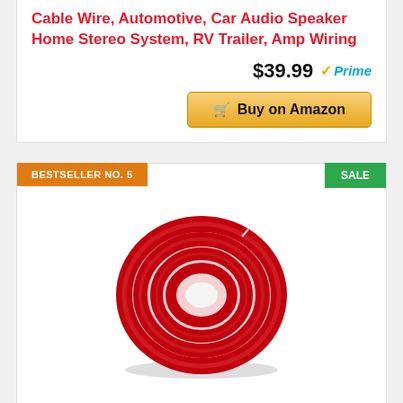Cable Wire, Automotive, Car Audio Speaker Home Stereo System, RV Trailer, Amp Wiring
$39.99 Prime
Buy on Amazon
BESTSELLER NO. 5
SALE
[Figure (photo): Coil of red 1/0 gauge power/ground wire by InstallGear, coiled into a round loop on a white background with a subtle shadow.]
InstallGear 1/0 Gauge Red 25ft Power/Ground Wire – OFC (99.9% Oxygen-Free Copper)